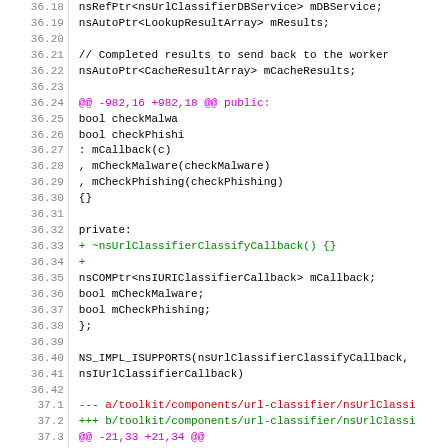[Figure (screenshot): Code diff screenshot showing C++ source lines 36.18 through 37.7 with line numbers on the left and code on the right. Lines include class members, a diff hunk marker, constructor code, private section, added lines (green), and file diff headers (red/magenta/green).]